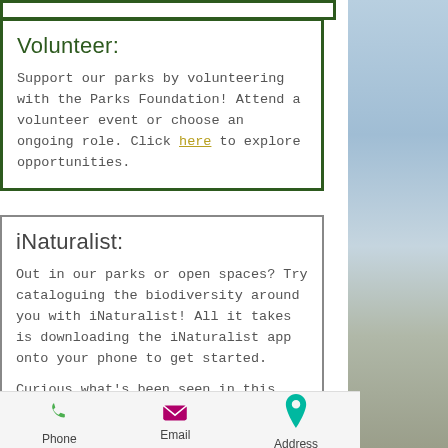Volunteer:
Support our parks by volunteering with the Parks Foundation! Attend a volunteer event or choose an ongoing role. Click here to explore opportunities.
iNaturalist:
Out in our parks or open spaces? Try cataloguing the biodiversity around you with iNaturalist! All it takes is downloading the iNaturalist app onto your phone to get started.
Curious what's been seen in this park? Click the link below to see what species other have spotted!
Phone   Email   Address